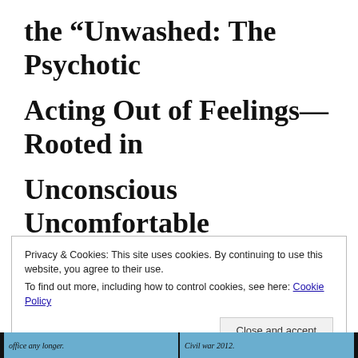the “Unwashed: The Psychotic Acting Out of Feelings—Rooted in Unconscious Uncomfortable Memories—in Insane Societies.
Privacy & Cookies: This site uses cookies. By continuing to use this website, you agree to their use.
To find out more, including how to control cookies, see here: Cookie Policy
[Figure (screenshot): Bottom strip showing two partially visible social media post thumbnails with blue backgrounds and text reading 'office any longer.' and 'Civil war 2012.']